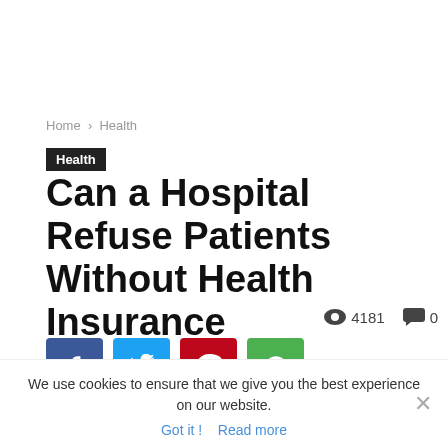Home › Health
Health
Can a Hospital Refuse Patients Without Health Insurance
👁 4181   💬 0
[Figure (infographic): Social sharing buttons: Facebook (blue), Twitter (light blue), Pinterest (red), WhatsApp (green)]
We use cookies to ensure that we give you the best experience on our website.
Got it !   Read more